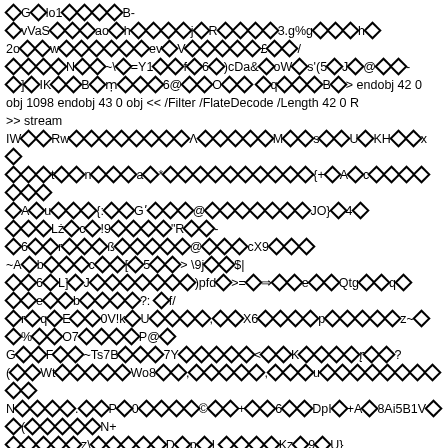Raw binary/encoded PDF stream data with diamond replacement characters and PDF object markers including: endobj 42 0 obj 1098 endobj 43 0 obj << /Filter /FlateDecode /Length 42 0 R >> stream